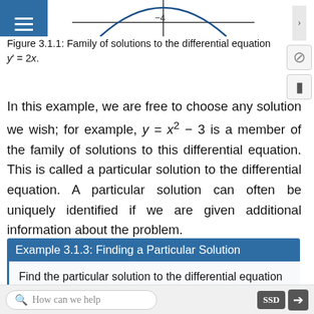[Figure (continuous-plot): Partial view of a parabola curve (family of solutions graph), showing the top portion with axis label -4 visible. This is a cropped view of Figure 3.1.1.]
Figure 3.1.1: Family of solutions to the differential equation y′ = 2x.
In this example, we are free to choose any solution we wish; for example, y = x² − 3 is a member of the family of solutions to this differential equation. This is called a particular solution to the differential equation. A particular solution can often be uniquely identified if we are given additional information about the problem.
Example 3.1.3: Finding a Particular Solution
Find the particular solution to the differential equation y′ = 2x passing through the point (2, 7).